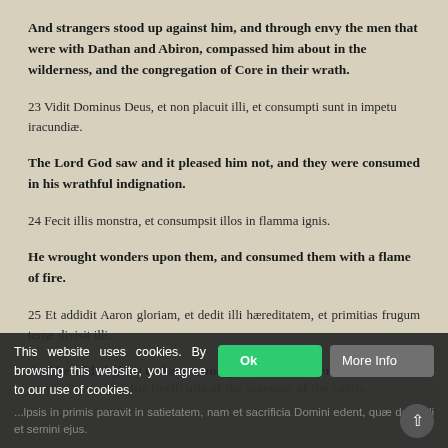And strangers stood up against him, and through envy the men that were with Dathan and Abiron, compassed him about in the wilderness, and the congregation of Core in their wrath.
23 Vidit Dominus Deus, et non placuit illi, et consumpti sunt in impetu iracundiæ.
The Lord God saw and it pleased him not, and they were consumed in his wrathful indignation.
24 Fecit illis monstra, et consumpsit illos in flamma ignis.
He wrought wonders upon them, and consumed them with a flame of fire.
25 Et addidit Aaron gloriam, et dedit illi hæreditatem, et primitias frugum terræ divisit illi.
And he added glory to Aaron, and gave him an inheritance, and divided unto him the firstfruits of the increase of the earth.
...lpsis in primis paravit in satietatem, nam et sacrificia Domini edent, quæ dedit illi et semini ejus.